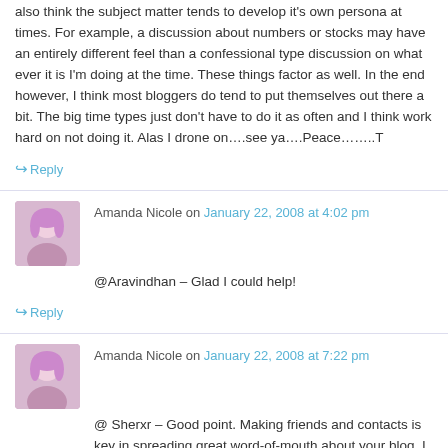also think the subject matter tends to develop it's own persona at times. For example, a discussion about numbers or stocks may have an entirely different feel than a confessional type discussion on what ever it is I'm doing at the time. These things factor as well. In the end however, I think most bloggers do tend to put themselves out there a bit. The big time types just don't have to do it as often and I think work hard on not doing it. Alas I drone on….see ya….Peace……..T
↳ Reply
Amanda Nicole on January 22, 2008 at 4:02 pm
@Aravindhan – Glad I could help!
↳ Reply
Amanda Nicole on January 22, 2008 at 7:22 pm
@ Sherxr – Good point. Making friends and contacts is key in spreading great word-of-mouth about your blog. I bet you get regular visitors and commenters because of it!